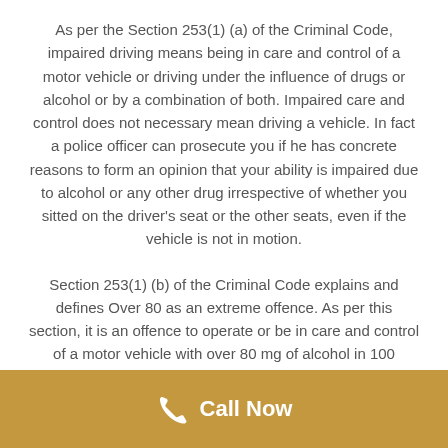As per the Section 253(1) (a) of the Criminal Code, impaired driving means being in care and control of a motor vehicle or driving under the influence of drugs or alcohol or by a combination of both. Impaired care and control does not necessary mean driving a vehicle. In fact a police officer can prosecute you if he has concrete reasons to form an opinion that your ability is impaired due to alcohol or any other drug irrespective of whether you sitted on the driver's seat or the other seats, even if the vehicle is not in motion.
Section 253(1) (b) of the Criminal Code explains and defines Over 80 as an extreme offence. As per this section, it is an offence to operate or be in care and control of a motor vehicle with over 80 mg of alcohol in 100 milliliters of blood. Sitting along with someone who has over 80...
Call Now